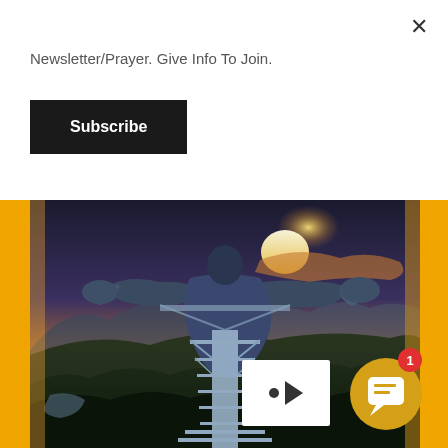Newsletter/Prayer. Give Info To Join.
Subscribe
[Figure (photo): Aerial photograph of a large Christ the King statue under construction, with outstretched arms, steel scaffolding, surrounded by forested hills and a sunset sky with golden light.]
[Figure (screenshot): Chat widget: white video thumbnail with dot and play arrow, and a gold circular chat bubble icon with a red badge showing notification count 1.]